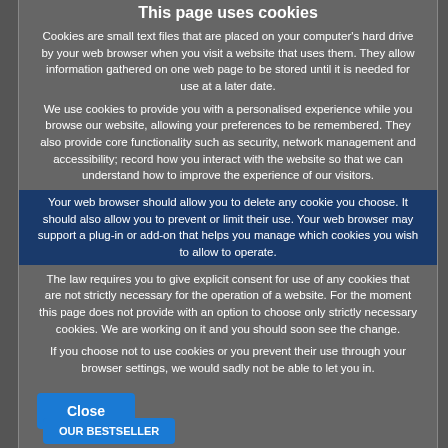This page uses cookies
Cookies are small text files that are placed on your computer's hard drive by your web browser when you visit a website that uses them. They allow information gathered on one web page to be stored until it is needed for use at a later date.
We use cookies to provide you with a personalised experience while you browse our website, allowing your preferences to be remembered. They also provide core functionality such as security, network management and accessibility; record how you interact with the website so that we can understand how to improve the experience of our visitors.
Your web browser should allow you to delete any cookie you choose. It should also allow you to prevent or limit their use. Your web browser may support a plug-in or add-on that helps you manage which cookies you wish to allow to operate.
The law requires you to give explicit consent for use of any cookies that are not strictly necessary for the operation of a website. For the moment this page does not provide with an option to choose only strictly necessary cookies. We are working on it and you should soon see the change.
If you choose not to use cookies or you prevent their use through your browser settings, we would sadly not be able to let you in.
Close
OUR BESTSELLER